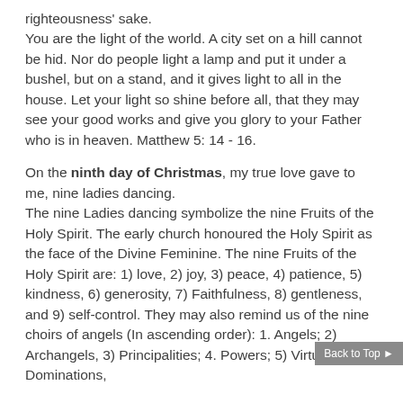righteousness' sake. You are the light of the world. A city set on a hill cannot be hid. Nor do people light a lamp and put it under a bushel, but on a stand, and it gives light to all in the house. Let your light so shine before all, that they may see your good works and give you glory to your Father who is in heaven. Matthew 5: 14 - 16.
On the ninth day of Christmas, my true love gave to me, nine ladies dancing. The nine Ladies dancing symbolize the nine Fruits of the Holy Spirit. The early church honoured the Holy Spirit as the face of the Divine Feminine. The nine Fruits of the Holy Spirit are: 1) love, 2) joy, 3) peace, 4) patience, 5) kindness, 6) generosity, 7) Faithfulness, 8) gentleness, and 9) self-control. They may also remind us of the nine choirs of angels (In ascending order): 1. Angels; 2) Archangels, 3) Principalities; 4. Powers; 5) Virtues, 6) Dominations,